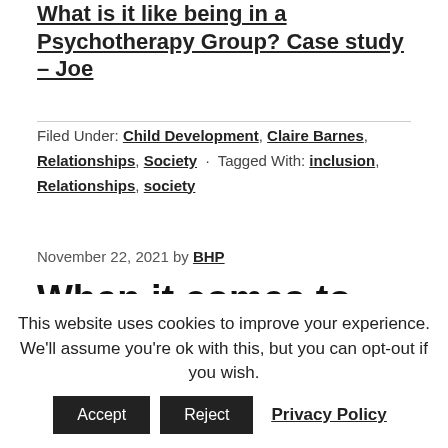What is it like being in a Psychotherapy Group? Case study – Joe
Filed Under: Child Development, Claire Barnes, Relationships, Society · Tagged With: inclusion, Relationships, society
November 22, 2021 by BHP
When it comes to parenting, are you a
This website uses cookies to improve your experience. We'll assume you're ok with this, but you can opt-out if you wish.
Accept | Reject | Privacy Policy